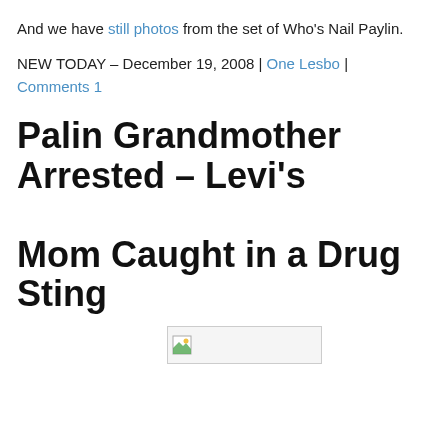And we have still photos from the set of Who's Nail Paylin.
NEW TODAY – December 19, 2008 | One Lesbo | Comments 1
Palin Grandmother Arrested – Levi's Mom Caught in a Drug Sting
[Figure (other): Broken image placeholder with small icon]